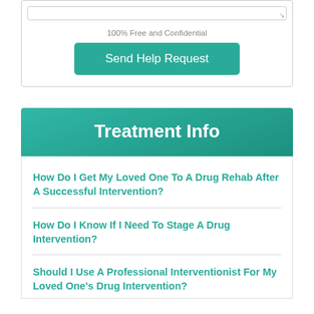100% Free and Confidential
Send Help Request
Treatment Info
How Do I Get My Loved One To A Drug Rehab After A Successful Intervention?
How Do I Know If I Need To Stage A Drug Intervention?
Should I Use A Professional Interventionist For My Loved One's Drug Intervention?